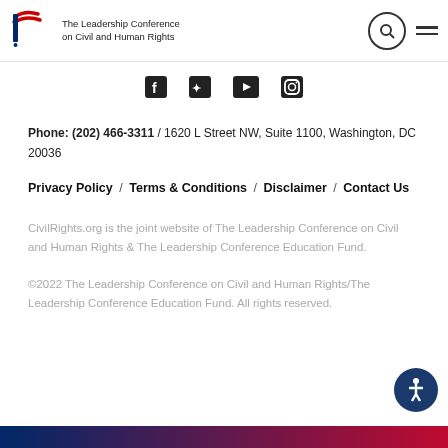The Leadership Conference on Civil and Human Rights
[Figure (logo): The Leadership Conference on Civil and Human Rights logo with stylized red and blue design]
[Figure (infographic): Social media icons: Facebook, Twitter, YouTube, Instagram]
Phone: (202) 466-3311  /  1620 L Street NW, Suite 1100, Washington, DC 20036
Privacy Policy  /  Terms & Conditions  /  Disclaimer  /  Contact Us
CivilRights.org is the joint website of The Leadership Conference on Civil and Human Rights & The Leadership Conference Education Fund.
©2022 The Leadership Conference on Civil and Human Rights/The Leadership Conference Education Fund. All rights reserved.